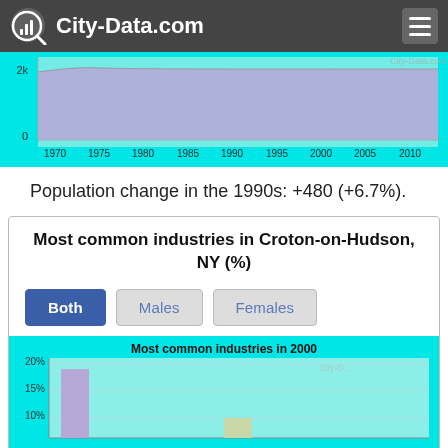City-Data.com
[Figure (area-chart): Area chart showing population from 1970 to 2010, with y-axis labels 0 and 2k, x-axis labels: 1970, 1975, 1980, 1985, 1990, 1995, 2000, 2005, 2010. Area filled in lavender/purple color on cyan background.]
Population change in the 1990s: +480 (+6.7%).
Most common industries in Croton-on-Hudson, NY (%)
Both   Males   Females
[Figure (bar-chart): Bar chart showing most common industries in 2000, y-axis shows 10%, 15%, 20%. Bars visible include lavender bar at ~17% and a small green bar. Cyan background.]